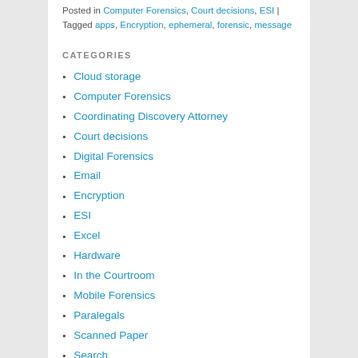Posted in Computer Forensics, Court decisions, ESI | Tagged apps, Encryption, ephemeral, forensic, message
CATEGORIES
Cloud storage
Computer Forensics
Coordinating Discovery Attorney
Court decisions
Digital Forensics
Email
Encryption
ESI
Excel
Hardware
In the Courtroom
Mobile Forensics
Paralegals
Scanned Paper
Search
Software
Software Guides